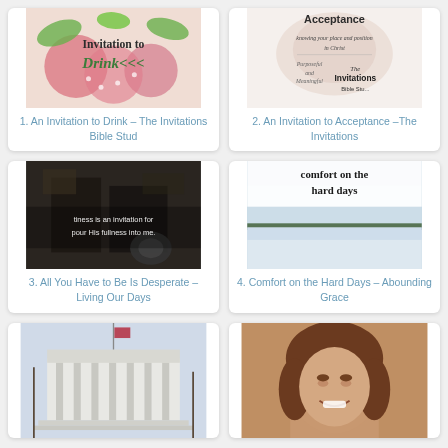[Figure (illustration): Book cover for 'Invitation to Drink' – The Invitations Bible Study, showing a decorative teacup with strawberry motif and script lettering]
1. An Invitation to Drink – The Invitations Bible Stud
[Figure (illustration): Book cover for 'An Invitation to Acceptance' – The Invitations Bible Study, with subtitle 'knowing your place and position in Christ']
2. An Invitation to Acceptance –The Invitations
[Figure (photo): Dark interior photo with white overlay text: 'tiness is an invitation for pour His fullness into me.']
3. All You Have to Be Is Desperate – Living Our Days
[Figure (photo): Photo of a snowy winter landscape with trees on the horizon and text 'comfort on the hard days' at the top]
4. Comfort on the Hard Days – Abounding Grace
[Figure (photo): Photo of the US Supreme Court building in winter with bare trees]
[Figure (photo): Portrait photo of a smiling woman with brown hair]